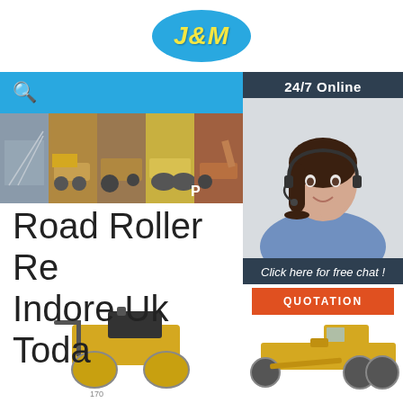[Figure (logo): J&M company logo, yellow italic text on blue oval background]
[Figure (photo): Navigation bar with search icon and hamburger menu on blue background]
[Figure (photo): Hero banner strip showing multiple construction/agricultural machinery photos: construction site, wheel loader in mud, tractor, road roller, excavator]
[Figure (photo): 24/7 online chat panel with female customer service representative wearing headset, with 'Click here for free chat!' text and QUOTATION button]
Road Roller Re... Indore Uk Toda...
[Figure (photo): Two construction machines at bottom: walk-behind road roller on left, motor grader on right]